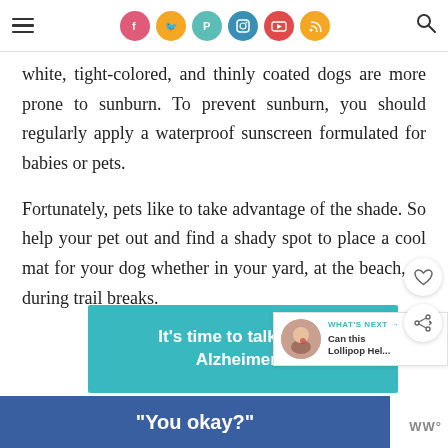Social media navigation bar with hamburger menu, social icons (Facebook, Twitter, Pinterest, Instagram, YouTube, RSS), and search icon
white, tight-colored, and thinly coated dogs are more prone to sunburn. To prevent sunburn, you should regularly apply a waterproof sunscreen formulated for babies or pets.
Fortunately, pets like to take advantage of the shade. So help your pet out and find a shady spot to place a cool mat for your dog whether in your yard, at the beach, or during trail breaks.
[Figure (other): Teal advertisement banner: It’s time to talk about Alzheimer’s]
[Figure (other): Blue advertisement banner: “You okay?”]